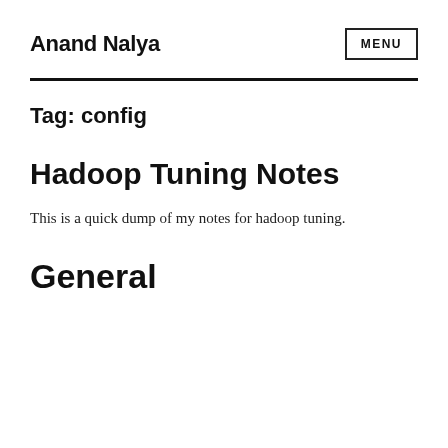Anand Nalya
Tag: config
Hadoop Tuning Notes
This is a quick dump of my notes for hadoop tuning.
General